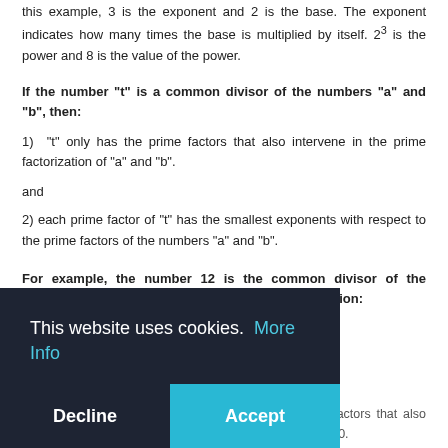this example, 3 is the exponent and 2 is the base. The exponent indicates how many times the base is multiplied by itself. 2^3 is the power and 8 is the value of the power.
If the number "t" is a common divisor of the numbers "a" and "b", then:
1)  "t" only has the prime factors that also intervene in the prime factorization of "a" and "b".
and
2) each prime factor of "t" has the smallest exponents with respect to the prime factors of the numbers "a" and "b".
For example, the number 12 is the common divisor of the numbers 48 and 360. Below is their prime factorization:
[Figure (screenshot): Cookie consent overlay with dark background. Text reads 'This website uses cookies. More Info' with Decline and Accept buttons.]
You can see that the number 12 has only the prime factors that also occur in the prime factorization of the numbers 48 and 360.